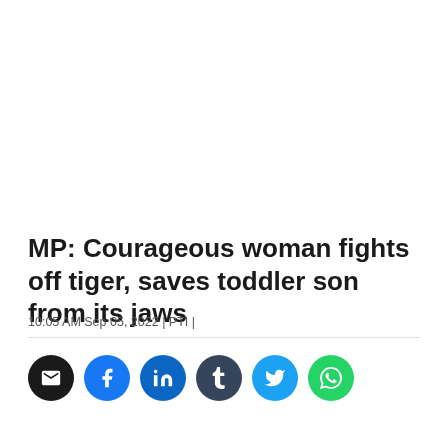MP: Courageous woman fights off tiger, saves toddler son from its jaws
10:05 AM Sep 05, 2022 | PTI |
[Figure (infographic): Social share icons row: email (black), Facebook (blue), LinkedIn (dark blue), Tumblr (dark blue-grey), Twitter (light blue), WhatsApp (green)]